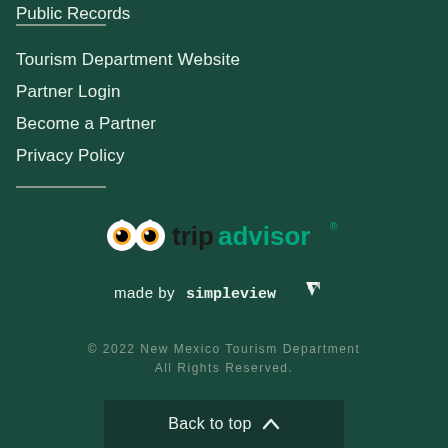Public Records
Tourism Department Website
Partner Login
Become a Partner
Privacy Policy
[Figure (logo): TripAdvisor logo with owl eyes icon]
made by simpleview
© 2022 New Mexico Tourism Department All Rights Reserved.
Back to top